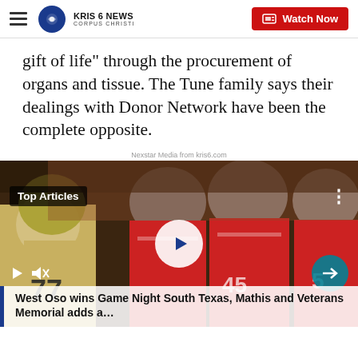KRIS 6 NEWS CORPUS CHRISTI — Watch Now
gift of life" through the procurement of organs and tissue. The Tune family says their dealings with Donor Network have been the complete opposite.
Nexstar Media from kris6.com
[Figure (screenshot): Video player showing football players on field, with 'Top Articles' badge, play button overlay, and caption bar reading 'West Oso wins Game Night South Texas, Mathis and Veterans Memorial adds a...']
West Oso wins Game Night South Texas, Mathis and Veterans Memorial adds a…